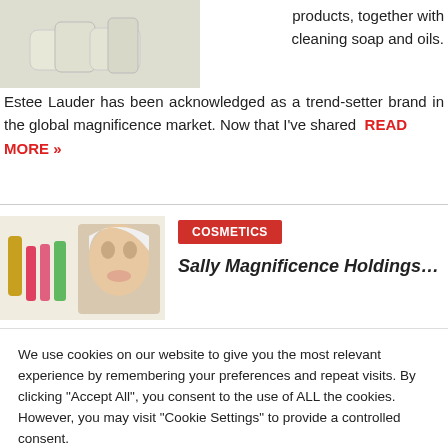[Figure (photo): Photo of soap/cosmetic products, light colored, viewed from above]
products, together with cleaning soap and oils. Estee Lauder has been acknowledged as a trend-setter brand in the global magnificence market. Now that I've shared READ MORE »
[Figure (photo): Cosmetics products and a woman photo]
COSMETICS
Sally Magnificence Holdings, Inc
We use cookies on our website to give you the most relevant experience by remembering your preferences and repeat visits. By clicking "Accept All", you consent to the use of ALL the cookies. However, you may visit "Cookie Settings" to provide a controlled consent.